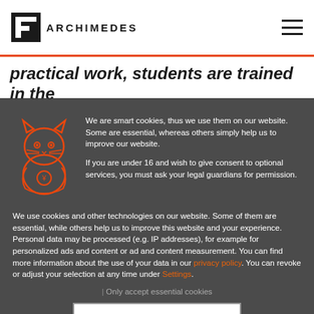[Figure (logo): Archimedes logo with stylized 'a' icon and text 'ARCHIMEDES']
practical work, students are trained in the
We are smart cookies, thus we use them on our website. Some are essential, whereas others simply help us to improve our website.

If you are under 16 and wish to give consent to optional services, you must ask your legal guardians for permission.

We use cookies and other technologies on our website. Some of them are essential, while others help us to improve this website and your experience. Personal data may be processed (e.g. IP addresses), for example for personalized ads and content or ad and content measurement. You can find more information about the use of your data in our privacy policy. You can revoke or adjust your selection at any time under Settings.
| Only accept essential cookies
I agree!
Individual privacy settings